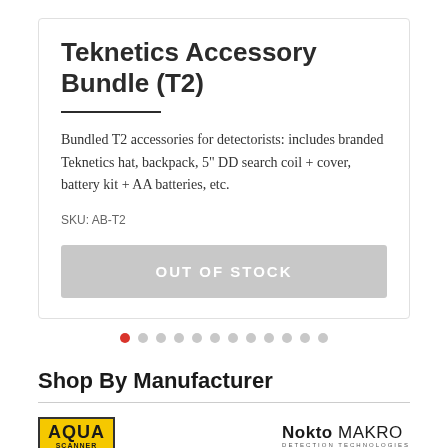Teknetics Accessory Bundle (T2)
Bundled T2 accessories for detectorists: includes branded Teknetics hat, backpack, 5" DD search coil + cover, battery kit + AA batteries, etc.
SKU: AB-T2
OUT OF STOCK
[Figure (other): Carousel pagination dots — 12 dots with the first one highlighted in red]
Shop By Manufacturer
[Figure (logo): Aqua Scanner logo — yellow box with bold black text 'AQUA' and 'SCANNER' below]
[Figure (logo): Nokta Makro Detection Technologies logo — black text with bold MAKRO]